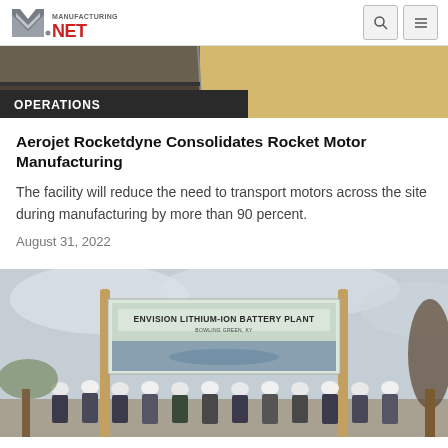Manufacturing.NET
[Figure (photo): Aerial or close-up view of sandy/earthy manufacturing surface or material]
OPERATIONS
Aerojet Rocketdyne Consolidates Rocket Motor Manufacturing
The facility will reduce the need to transport motors across the site during manufacturing by more than 90 percent.
August 31, 2022
[Figure (photo): People in hard hats at groundbreaking ceremony in front of Envision Lithium-Ion Battery Plant sign]